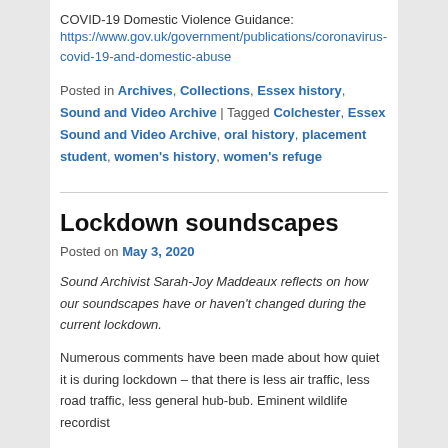COVID-19 Domestic Violence Guidance: https://www.gov.uk/government/publications/coronavirus-covid-19-and-domestic-abuse
Posted in Archives, Collections, Essex history, Sound and Video Archive | Tagged Colchester, Essex Sound and Video Archive, oral history, placement student, women's history, women's refuge
Lockdown soundscapes
Posted on May 3, 2020
Sound Archivist Sarah-Joy Maddeaux reflects on how our soundscapes have or haven't changed during the current lockdown.
Numerous comments have been made about how quiet it is during lockdown – that there is less air traffic, less road traffic, less general hub-bub. Eminent wildlife recordist